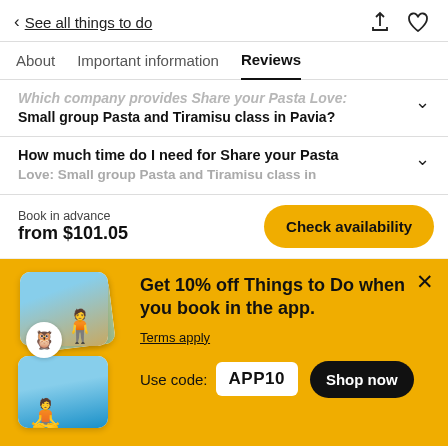< See all things to do
About   Important information   Reviews
Which company provides Share your Pasta Love: Small group Pasta and Tiramisu class in Pavia?
How much time do I need for Share your Pasta Love: Small group Pasta and Tiramisu class in Pavia?
Book in advance
from $101.05
[Figure (screenshot): Yellow promotional banner with stacked photo cards on left showing a person hiking and two women at beach. TripAdvisor badge visible. Text: Get 10% off Things to Do when you book in the app. Terms apply. Use code: APP10. Shop now button.]